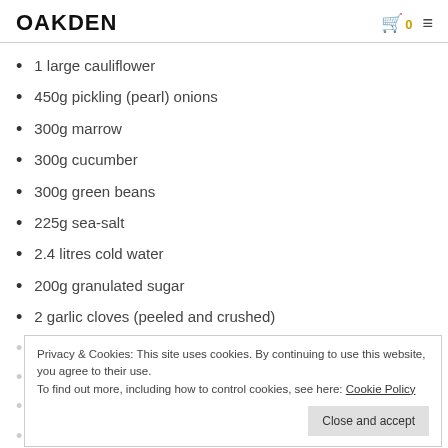OAKDEN
1 large cauliflower
450g pickling (pearl) onions
300g marrow
300g cucumber
300g green beans
225g sea-salt
2.4 litres cold water
200g granulated sugar
2 garlic cloves (peeled and crushed)
3 tsp mustard powder
150g demerara sugar
1 litre distilled (white) vinegar
25g plain flour
1 tbsp turmeric
Privacy & Cookies: This site uses cookies. By continuing to use this website, you agree to their use. To find out more, including how to control cookies, see here: Cookie Policy